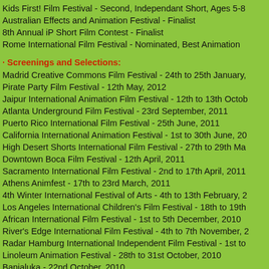Kids First! Film Festival - Second, Independant Short, Ages 5-8
Australian Effects and Animation Festival - Finalist
8th Annual iP Short Film Contest - Finalist
Rome International Film Festival - Nominated, Best Animation
· Screenings and Selections:
Madrid Creative Commons Film Festival - 24th to 25th January,
Pirate Party Film Festival - 12th May, 2012
Jaipur International Animation Film Festival - 12th to 13th Octob
Atlanta Underground Film Festival - 23rd September, 2011
Puerto Rico International Film Festival - 25th June, 2011
California International Animation Festival - 1st to 30th June, 20
High Desert Shorts International Film Festival - 27th to 29th Ma
Downtown Boca Film Festival - 12th April, 2011
Sacramento International Film Festival - 2nd to 17th April, 2011
Athens Animfest - 17th to 23rd March, 2011
4th Winter International Festival of Arts - 4th to 13th February, 2
Los Angeles International Children's Film Festival - 18th to 19th
African International Film Festival - 1st to 5th December, 2010
River's Edge International Film Festival - 4th to 7th November, 2
Radar Hamburg International Independent Film Festival - 1st to
Linoleum Animation Festival - 28th to 31st October, 2010
Banjaluka - 22nd October, 2010
Flatland Film Festival - 16th October, 2010
SoDak Animation Festival - 14th October, 2010